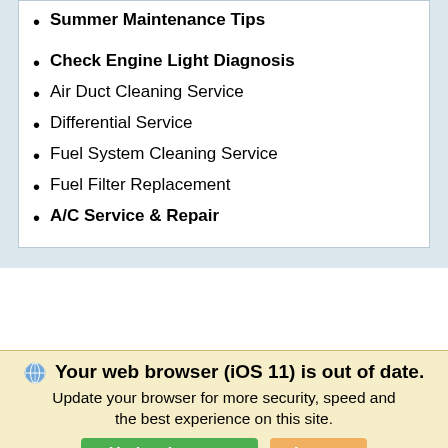Summer Maintenance Tips
Check Engine Light Diagnosis
Air Duct Cleaning Service
Differential Service
Fuel System Cleaning Service
Fuel Filter Replacement
A/C Service & Repair
Your web browser (iOS 11) is out of date. Update your browser for more security, speed and the best experience on this site.